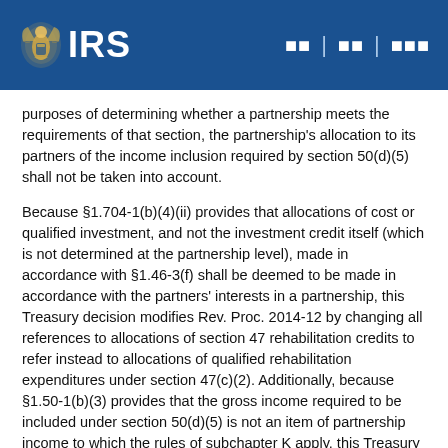IRS
purposes of determining whether a partnership meets the requirements of that section, the partnership's allocation to its partners of the income inclusion required by section 50(d)(5) shall not be taken into account.
Because §1.704-1(b)(4)(ii) provides that allocations of cost or qualified investment, and not the investment credit itself (which is not determined at the partnership level), made in accordance with §1.46-3(f) shall be deemed to be made in accordance with the partners' interests in a partnership, this Treasury decision modifies Rev. Proc. 2014-12 by changing all references to allocations of section 47 rehabilitation credits to refer instead to allocations of qualified rehabilitation expenditures under section 47(c)(2). Additionally, because §1.50-1(b)(3) provides that the gross income required to be included under section 50(d)(5) is not an item of partnership income to which the rules of subchapter K apply, this Treasury decision modifies Rev. Proc. 2014-12 by deleting the sentences in section 3 and section 4.07 that refer to